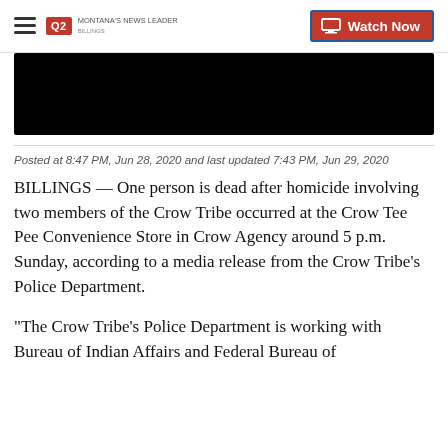Q2 MONTANA'S NEWS LEADER — Watch Now
[Figure (photo): Black video thumbnail area]
Posted at 8:47 PM, Jun 28, 2020 and last updated 7:43 PM, Jun 29, 2020
BILLINGS — One person is dead after homicide involving two members of the Crow Tribe occurred at the Crow Tee Pee Convenience Store in Crow Agency around 5 p.m. Sunday, according to a media release from the Crow Tribe's Police Department.
“The Crow Tribe’s Police Department is working with Bureau of Indian Affairs and Federal Bureau of